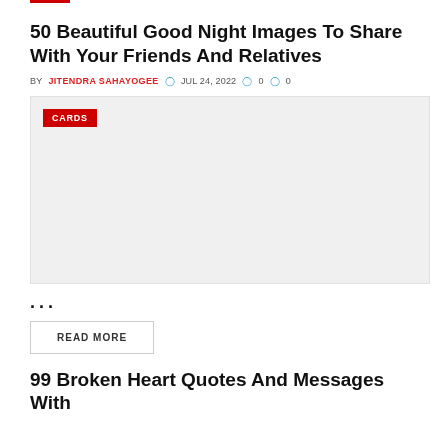50 Beautiful Good Night Images To Share With Your Friends And Relatives
BY JITENDRA SAHAYOGEE  © JUL 24, 2022  💬 0  👁 0
[Figure (other): A placeholder image block with a red CARDS badge in the top left corner]
...
READ MORE
99 Broken Heart Quotes And Messages With